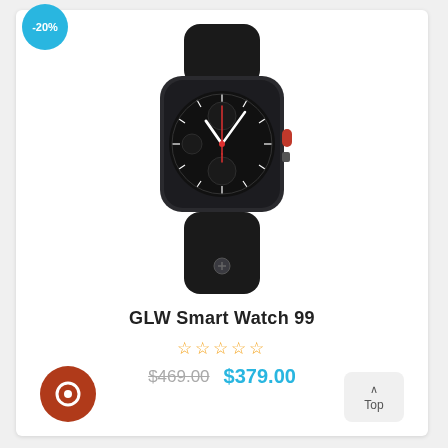[Figure (photo): Apple Watch Series 3 with black sport band and space gray aluminum case, showing analog watch face with red accents]
GLW Smart Watch 99
☆☆☆☆☆ (star rating, 0 stars)
$469.00  $379.00
[Figure (logo): Round dark red/brown avatar icon with a play/flame symbol]
^ Top